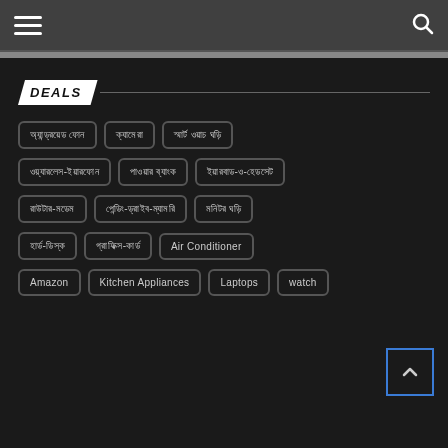Navigation header with hamburger menu and search icon
DEALS
অ্যান্ড্রয়েড ফোন
ক্যামেরা
স্মার্ট ওয়াচ ঘড়ি
ওয়্যারলেস-ইয়ারফোন
পাওয়ার ব্যাংক
ইয়ারবাড-ও-হেডসেট
রাউটার-মডেম
পেন্ডিং-ড্রাইব-ম্যামরি
মনিটর ঘড়ি
হার্ড-ডিস্ক
গ্রাফিক্স-কার্ড
Air Conditioner
Amazon
Kitchen Appliances
Laptops
watch